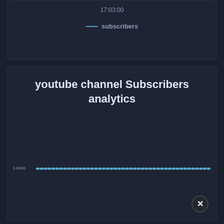17:03:00
— subscribers
youtube channel Subscribers analytics
[Figure (line-chart): A nearly flat line chart showing subscriber count at 1490 across many time points, displayed as a dotted/dashed light blue horizontal line.]